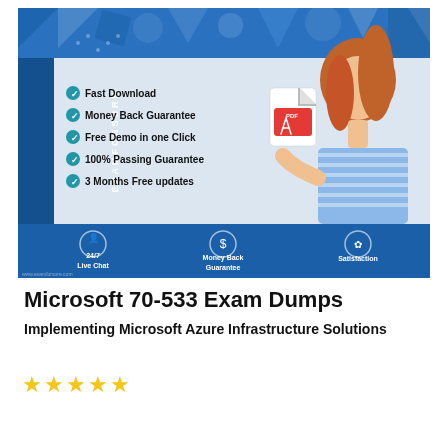[Figure (illustration): ExamForSure product box with geometric blue/white pattern on top, woman holding PDF document on right side, feature checklist (Fast Download, Money Back Guarantee, Free Demo in one Click, 100% Passing Guarantee, 3 Months Free updates), blue spine with EXAMFORSURE text, blue bottom bar with 24/7 Live Chat, Money Back Guarantee, and Satisfaction icons]
Microsoft 70-533 Exam Dumps
Implementing Microsoft Azure Infrastructure Solutions
[Figure (other): 5 gold star rating]